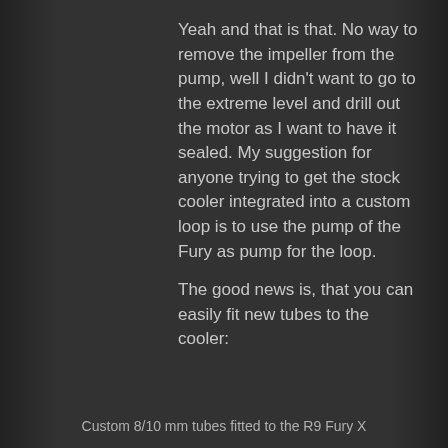Yeah and that is that. No way to remove the impeller from the pump, well I didn't want to go to the extreme level and drill out the motor as I want to have it sealed. My suggestion for anyone trying to get the stock cooler integrated into a custom loop is to use the pump of the Fury as pump for the loop.
The good news is, that you can easily fit new tubes to the cooler:
Custom 8/10 mm tubes fitted to the R9 Fury X